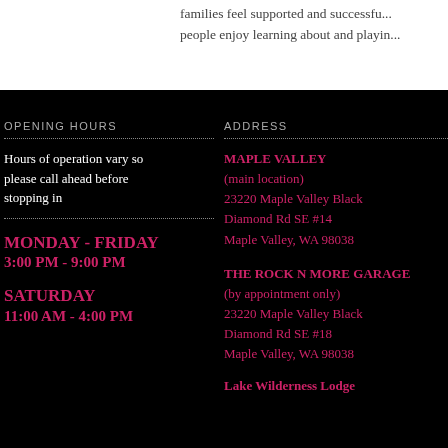families feel supported and successful... people enjoy learning about and playin...
OPENING HOURS
Hours of operation vary so please call ahead before stopping in
MONDAY - FRIDAY
3:00 PM - 9:00 PM
SATURDAY
11:00 AM - 4:00 PM
ADDRESS
MAPLE VALLEY
(main location)
23220 Maple Valley Black Diamond Rd SE #14
Maple Valley, WA 98038
THE ROCK N MORE GARAGE
(by appointment only)
23220 Maple Valley Black Diamond Rd SE #18
Maple Valley, WA 98038
Lake Wilderness Lodge